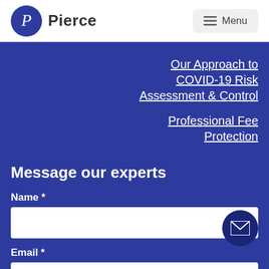Pierce — Menu
Our Approach to COVID-19 Risk Assessment & Control
Professional Fee Protection
Message our experts
Name *
Email *